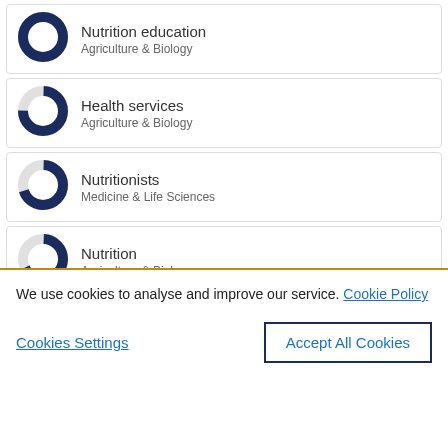Nutrition education | Agriculture & Biology
Health services | Agriculture & Biology
Nutritionists | Medicine & Life Sciences
Nutrition | Agriculture & Biology
We use cookies to analyse and improve our service. Cookie Policy
Cookies Settings | Accept All Cookies